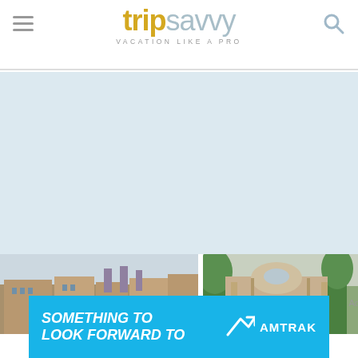tripsavvy — VACATION LIKE A PRO
[Figure (photo): Large light blue placeholder area representing a main article image]
[Figure (photo): Photo of Notre Dame cathedral in Paris, buildings and cathedral towers visible]
[Figure (photo): Photo of an ornate Parisian building facade with dome and trees]
[Figure (other): Amtrak advertisement banner: SOMETHING TO LOOK FORWARD TO with Amtrak logo]